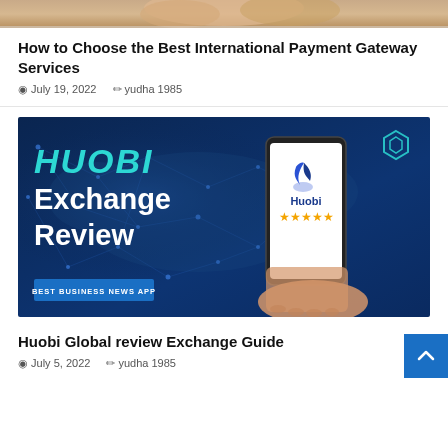[Figure (photo): Partial top image, cropped photo showing person or scene (skin tone visible at top)]
How to Choose the Best International Payment Gateway Services
July 19, 2022   yudha 1985
[Figure (infographic): Huobi Exchange Review banner image. Dark blue background with network map. Text: HUOBI (teal), Exchange Review (white bold). Phone showing Huobi logo and 5 stars. Badge: BEST BUSINESS NEWS APP. Hexagon logo top right.]
Huobi Global review Exchange Guide
July 5, 2022   yudha 1985